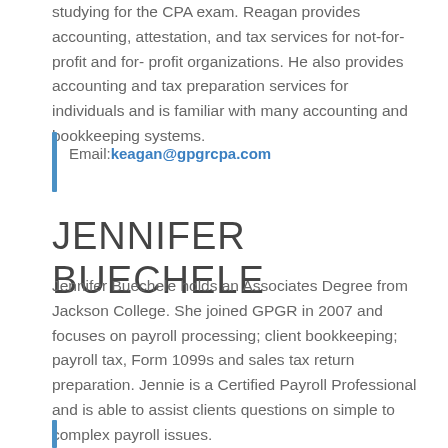studying for the CPA exam. Reagan provides accounting, attestation, and tax services for not-for-profit and for-profit organizations. He also provides accounting and tax preparation services for individuals and is familiar with many accounting and bookkeeping systems.
Email: keagan@gpgrcpa.com
JENNIFER BUECHELE
Jennifer Buechele holds an Associates Degree from Jackson College. She joined GPGR in 2007 and focuses on payroll processing; client bookkeeping; payroll tax, Form 1099s and sales tax return preparation. Jennie is a Certified Payroll Professional and is able to assist clients questions on simple to complex payroll issues.